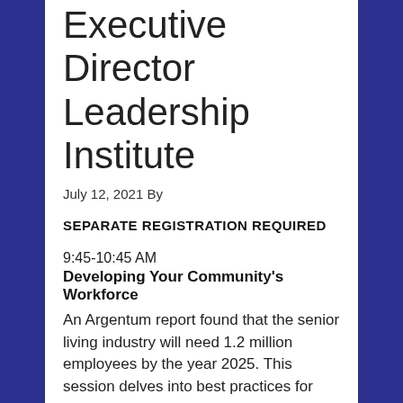Executive Director Leadership Institute
July 12, 2021 By
SEPARATE REGISTRATION REQUIRED
9:45-10:45 AM
Developing Your Community's Workforce
An Argentum report found that the senior living industry will need 1.2 million employees by the year 2025. This session delves into best practices for hiring, training, and retaining the top talent needed to staff senior living communities, with an emphasis on developing the next